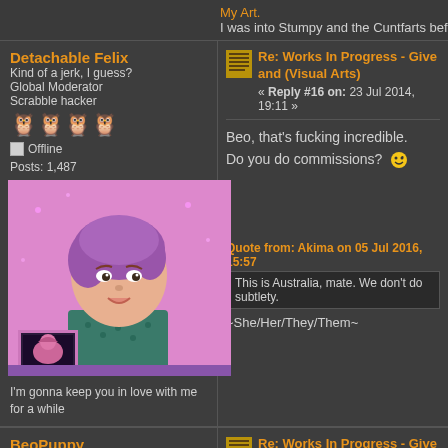My Art.
I was into Stumpy and the Cuntfarts before they s
Detachable Felix
Kind of a jerk, I guess?
Global Moderator
Scrabble hacker
Offline
Posts: 1,487
[Figure (illustration): Avatar of a cartoon woman with short purple hair sitting at a computer, pink/purple background]
I'm gonna keep you in love with me for a while
Re: Works In Progress - Give and (Visual Arts)
« Reply #16 on: 23 Jul 2014, 19:11 »
Beo, that's fucking incredible.
Do you do commissions? 😛
Quote from: Akima on 05 Jul 2016, 15:57
This is Australia, mate. We don't do subtlety.
~She/Her/They/Them~
BeoPuppy
ASDFSFAALYG8A@*& ^$%O
★★★★★
Offline
Posts: 4,542
Re: Works In Progress - Give and (Visual Arts)
« Reply #17 on: 23 Jul 2014, 23:55 »
You got the cash I gots tha mad skillzz, bo